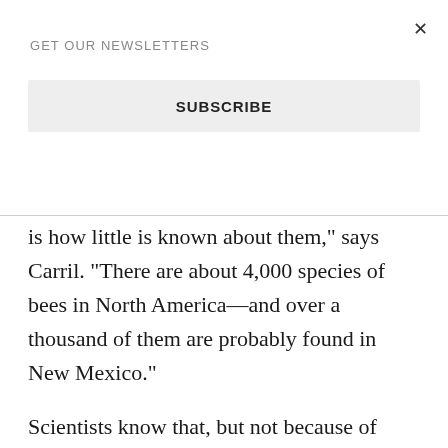GET OUR NEWSLETTERS
SUBSCRIBE
is how little is known about them," says Carril. "There are about 4,000 species of bees in North America—and over a thousand of them are probably found in New Mexico."
Scientists know that, but not because of widespread surveys or samples. Unlike some states, New Mexico hasn't been sampled extensively. Rather, says Carril, when range maps show a species living in, say, Mexico, Colorado, and Texas, it's probably safe to assume they live